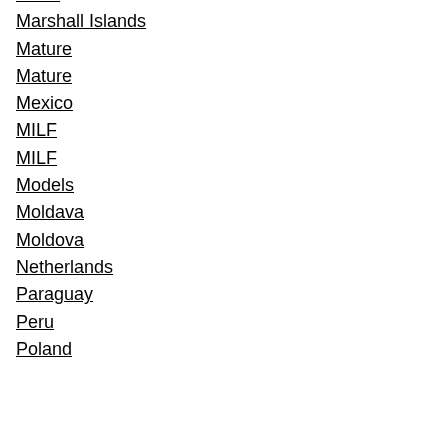Malta
Marshall Islands
Mature
Mature
Mexico
MILF
MILF
Models
Moldava
Moldova
Netherlands
Paraguay
Peru
Poland